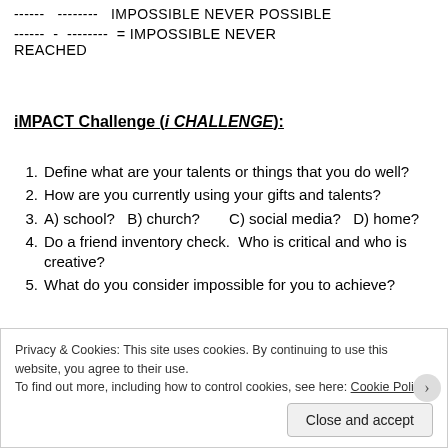iMPACT Challenge (i CHALLENGE):
Define what are your talents or things that you do well?
How are you currently using your gifts and talents?
A) school?   B) church?        C) social media?   D) home?
Do a friend inventory check.  Who is critical and who is creative?
What do you consider impossible for you to achieve?
Privacy & Cookies: This site uses cookies. By continuing to use this website, you agree to their use. To find out more, including how to control cookies, see here: Cookie Policy
Close and accept